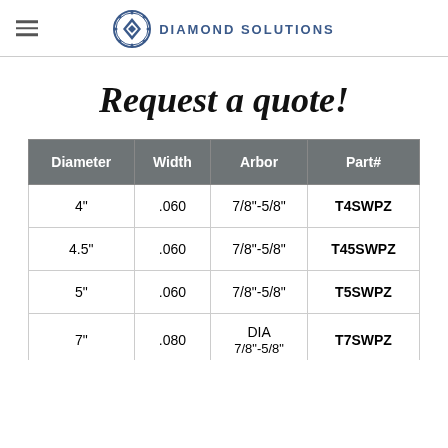DIAMOND SOLUTIONS
Request a quote!
| Diameter | Width | Arbor | Part# |
| --- | --- | --- | --- |
| 4" | .060 | 7/8"-5/8" | T4SWPZ |
| 4.5" | .060 | 7/8"-5/8" | T45SWPZ |
| 5" | .060 | 7/8"-5/8" | T5SWPZ |
| 7" | .080 | DIA
7/8"-5/8" | T7SWPZ |